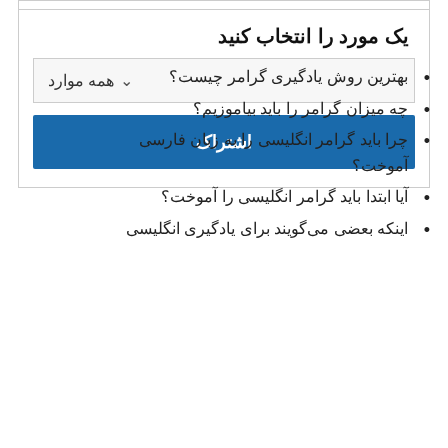یک مورد را انتخاب کنید
همه موارد
اشتراک
چند سؤال مهم و پرتکرار
بهترین روش یادگیری گرامر چیست؟
چه میزان گرامر را باید بیاموزیم؟
چرا باید گرامر انگلیسی را به زبان فارسی آموخت؟
آیا ابتدا باید گرامر انگلیسی را آموخت؟
اینکه بعضی می‌گویند برای یادگیری انگلیسی